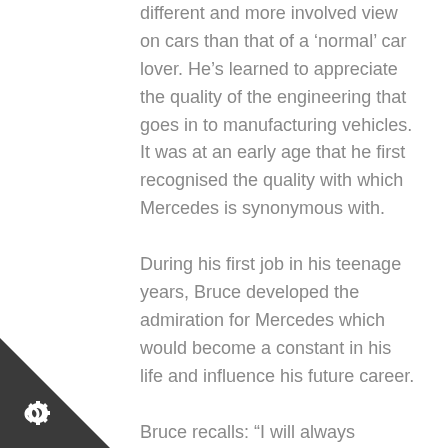different and more involved view on cars than that of a 'normal' car lover. He's learned to appreciate the quality of the engineering that goes in to manufacturing vehicles. It was at an early age that he first recognised the quality with which Mercedes is synonymous with.
During his first job in his teenage years, Bruce developed the admiration for Mercedes which would become a constant in his life and influence his future career.
Bruce recalls: "I will always remember that one of the company Directors at my first job drove a Mercedes 124 300 TE. It was the E-Class of its time. As a mechanic, I would get to drive the company cars and clean them on a regular basis. This included taking them to fill with